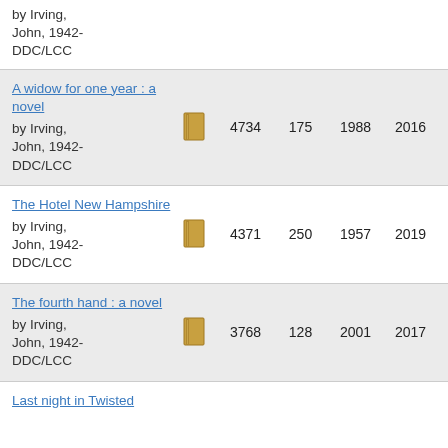by Irving, John, 1942- DDC/LCC
| Title/Author | Icon | Count1 | Count2 | Year1 | Year2 |
| --- | --- | --- | --- | --- | --- |
| A widow for one year : a novel by Irving, John, 1942- DDC/LCC |  | 4734 | 175 | 1988 | 2016 |
| The Hotel New Hampshire by Irving, John, 1942- DDC/LCC |  | 4371 | 250 | 1957 | 2019 |
| The fourth hand : a novel by Irving, John, 1942- DDC/LCC |  | 3768 | 128 | 2001 | 2017 |
| Last night in Twisted... |  |  |  |  |  |